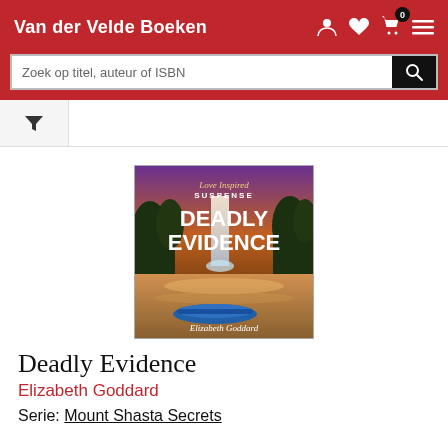Van der Velde Boeken
Zoek op titel, auteur of ISBN
[Figure (illustration): Book cover of 'Deadly Evidence' by Elizabeth Goddard, Love Inspired Suspense series. Shows a dramatic landscape with a waterfall, river, forest trees under a purple-orange sky, and a blue kayak in the foreground.]
Deadly Evidence
Elizabeth Goddard
Serie: Mount Shasta Secrets